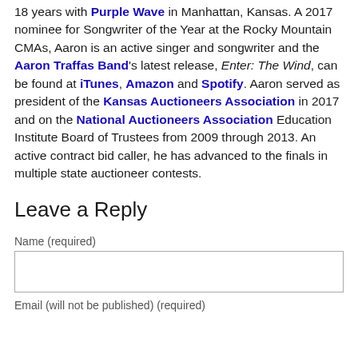18 years with Purple Wave in Manhattan, Kansas. A 2017 nominee for Songwriter of the Year at the Rocky Mountain CMAs, Aaron is an active singer and songwriter and the Aaron Traffas Band's latest release, Enter: The Wind, can be found at iTunes, Amazon and Spotify. Aaron served as president of the Kansas Auctioneers Association in 2017 and on the National Auctioneers Association Education Institute Board of Trustees from 2009 through 2013. An active contract bid caller, he has advanced to the finals in multiple state auctioneer contests.
Leave a Reply
Name (required)
Email (will not be published) (required)